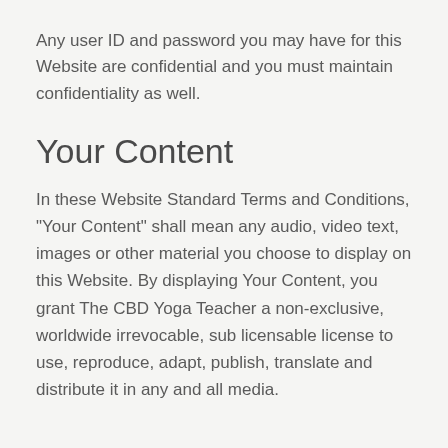Any user ID and password you may have for this Website are confidential and you must maintain confidentiality as well.
Your Content
In these Website Standard Terms and Conditions, "Your Content" shall mean any audio, video text, images or other material you choose to display on this Website. By displaying Your Content, you grant The CBD Yoga Teacher a non-exclusive, worldwide irrevocable, sub licensable license to use, reproduce, adapt, publish, translate and distribute it in any and all media.